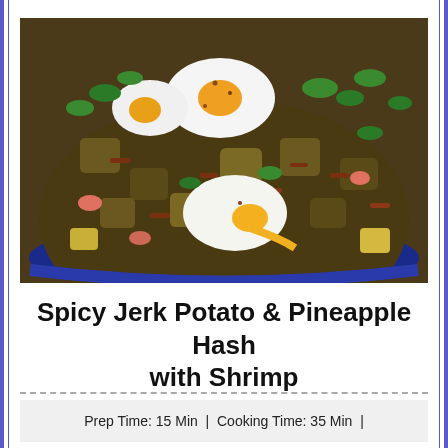[Figure (photo): A blue skillet bowl filled with spicy jerk potato and pineapple hash with shrimp, topped with fried eggs, crispy bacon bits, and fresh cilantro.]
Spicy Jerk Potato & Pineapple Hash with Shrimp
Prep Time: 15 Min  |  Cooking Time: 35 Min  |